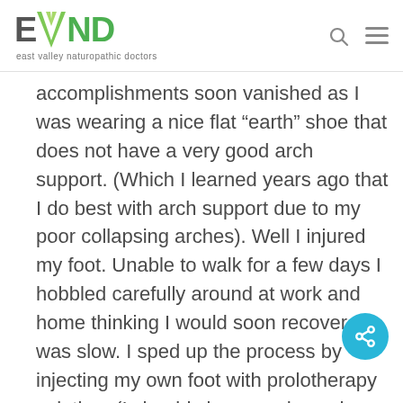EVND east valley naturopathic doctors
accomplishments soon vanished as I was wearing a nice flat “earth” shoe that does not have a very good arch support. (Which I learned years ago that I do best with arch support due to my poor collapsing arches). Well I injured my foot. Unable to walk for a few days I hobbled carefully around at work and home thinking I would soon recover. It was slow. I sped up the process by injecting my own foot with prolotherapy solution. (I should close my door when injecting my own foot so as not to scare the office staff as they walk by my door)